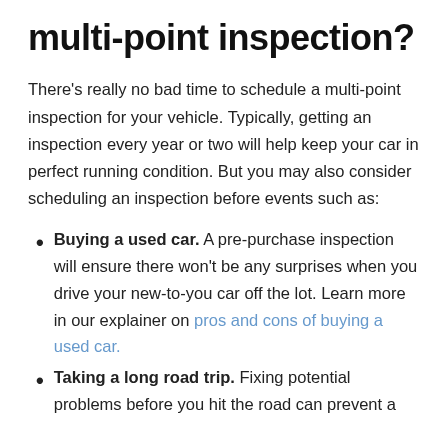multi-point inspection?
There's really no bad time to schedule a multi-point inspection for your vehicle. Typically, getting an inspection every year or two will help keep your car in perfect running condition. But you may also consider scheduling an inspection before events such as:
Buying a used car. A pre-purchase inspection will ensure there won't be any surprises when you drive your new-to-you car off the lot. Learn more in our explainer on pros and cons of buying a used car.
Taking a long road trip. Fixing potential problems before you hit the road can prevent a